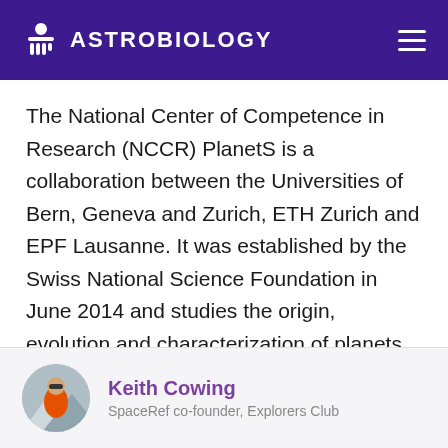ASTROBIOLOGY
The National Center of Competence in Research (NCCR) PlanetS is a collaboration between the Universities of Bern, Geneva and Zurich, ETH Zurich and EPF Lausanne. It was established by the Swiss National Science Foundation in June 2014 and studies the origin, evolution and characterization of planets.
Keith Cowing
SpaceRef co-founder, Explorers Club